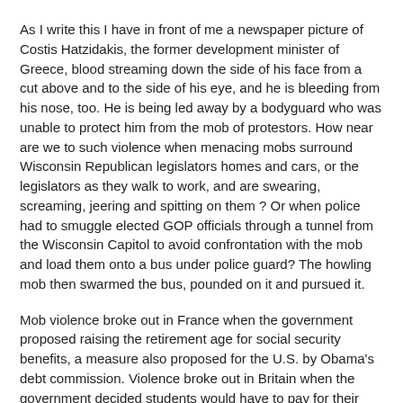As I write this I have in front of me a newspaper picture of Costis Hatzidakis, the former development minister of Greece, blood streaming down the side of his face from a cut above and to the side of his eye, and he is bleeding from his nose, too. He is being led away by a bodyguard who was unable to protect him from the mob of protestors. How near are we to such violence when menacing mobs surround Wisconsin Republican legislators homes and cars, or the legislators as they walk to work, and are swearing, screaming, jeering and spitting on them ? Or when police had to smuggle elected GOP officials through a tunnel from the Wisconsin Capitol to avoid confrontation with the mob and load them onto a bus under police guard? The howling mob then swarmed the bus, pounded on it and pursued it.
Mob violence broke out in France when the government proposed raising the retirement age for social security benefits, a measure also proposed for the U.S. by Obama's debt commission. Violence broke out in Britain when the government decided students would have to pay for their college education. But these were modest compared to the violence and magnitude of the fiscal problems of Greece, which may yet default on its payments under the bailout it received from the European Central Bank.